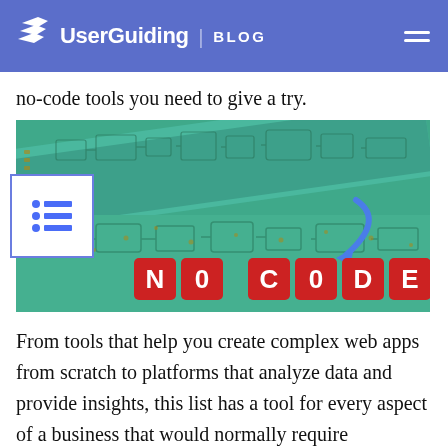UserGuiding | BLOG
no-code tools you need to give a try.
[Figure (photo): Circuit board close-up with red letter tiles spelling 'NO CODE' and a blue arrow pointing to the board]
From tools that help you create complex web apps from scratch to platforms that analyze data and provide insights, this list has a tool for every aspect of a business that would normally require